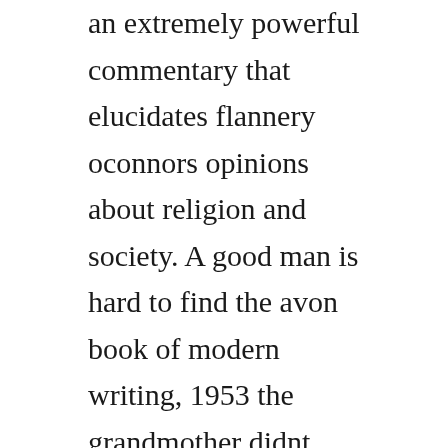an extremely powerful commentary that elucidates flannery oconnors opinions about religion and society. A good man is hard to find the avon book of modern writing, 1953 the grandmother didnt want to go to florida. The misfit personifies the struggle or human conflict that we all go thru. Weve found 14,935 lyrics, 8 artists, and 50 albums matching a good man is hard to find.
The article presents the short story a good man is hard to find by flannery oconnor. Rent a good man is hard to find 2008 starring darrin dewitt henson and golden brooks on